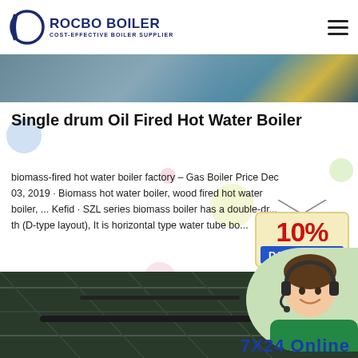ROCBO BOILER — COST-EFFECTIVE BOILER SUPPLIER
[Figure (photo): Industrial boiler equipment photo strip at top of page]
Single drum Oil Fired Hot Water Boiler
biomass-fired hot water boiler factory – Gas Boiler Price Dec 03, 2019 · Biomass hot water boiler, wood fired hot water boiler, ... Kefid · SZL series biomass boiler has a double-dr... th (D-type layout), It is horizontal type water tube bo...
[Figure (infographic): 10% DISCOUNT promotional badge/stamp graphic]
[Figure (photo): Customer service representative with headset, circular cropped photo]
[Figure (photo): Interior industrial building ceiling/structure photo strip]
7X24 Online